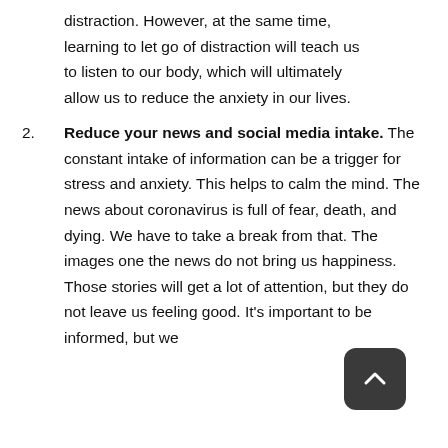distraction. However, at the same time, learning to let go of distraction will teach us to listen to our body, which will ultimately allow us to reduce the anxiety in our lives.
2. Reduce your news and social media intake. The constant intake of information can be a trigger for stress and anxiety. This helps to calm the mind. The news about coronavirus is full of fear, death, and dying. We have to take a break from that. The images one the news do not bring us happiness. Those stories will get a lot of attention, but they do not leave us feeling good. It's important to be informed, but we